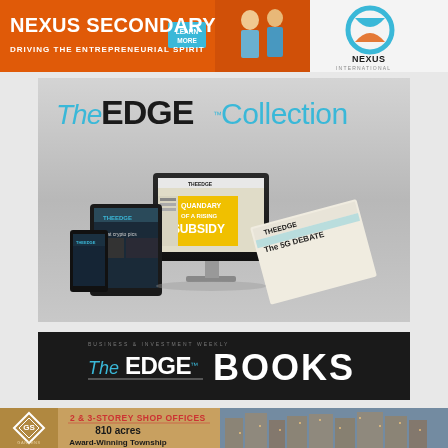[Figure (advertisement): Nexus Secondary School advertisement banner with orange background, 'NEXUS SECONDARY / DRIVING THE ENTREPRENEURIAL SPIRIT' text, a 'LEARN MORE' blue button, photo of two students, and Nexus International School Malaysia logo with teal ring]
[Figure (advertisement): The Edge Collection promotional banner showing 'THE EDGE Collection' logo in teal and black, with images of a desktop monitor, tablet, smartphone displaying The Edge Malaysia publication, and a newspaper showing 'The 5G DEBATE' headline]
[Figure (advertisement): The Edge Books advertisement banner with dark background showing 'THE EDGE' logo in white and teal and 'BOOKS' in large white bold text]
[Figure (advertisement): Gardens Square real estate advertisement showing logo with geometric diamond symbol, text '2 & 3-STOREY SHOP OFFICES', '810 acres', 'Award-Winning Township' on gold/tan background with property photo]